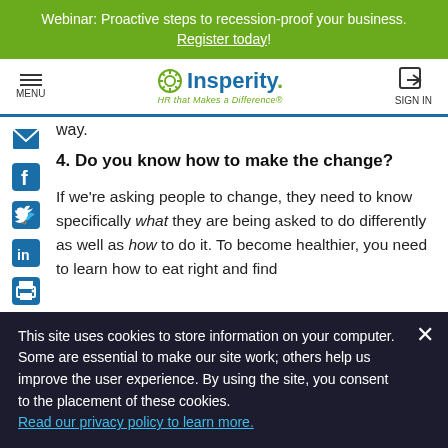Webinar: Proactive steps to recession-proof your business. Register today!
Insperity – HR that Makes a Difference – MENU | SIGN IN
way.
4. Do you know how to make the change?
If we're asking people to change, they need to know specifically what they are being asked to do differently as well as how to do it. To become healthier, you need to learn how to eat right and find
This site uses cookies to store information on your computer. Some are essential to make our site work; others help us improve the user experience. By using the site, you consent to the placement of these cookies. Read our privacy policy to learn more.